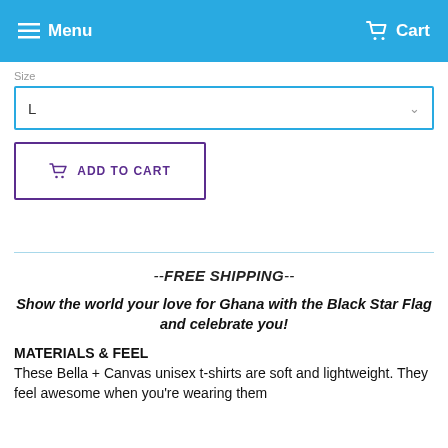Menu  Cart
Size
L
ADD TO CART
--FREE SHIPPING--
Show the world your love for Ghana with the Black Star Flag and celebrate you!
MATERIALS & FEEL
These Bella + Canvas unisex t-shirts are soft and lightweight. They feel awesome when you're wearing them